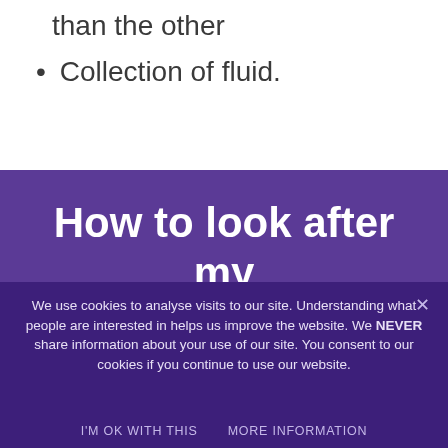than the other
Collection of fluid.
How to look after my balls
We use cookies to analyse visits to our site. Understanding what people are interested in helps us improve the website. We NEVER share information about your use of our site. You consent to our cookies if you continue to use our website.
I'M OK WITH THIS   MORE INFORMATION